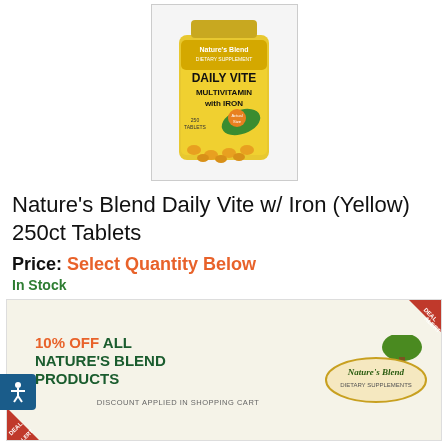[Figure (photo): Nature's Blend Daily Vite Multivitamin with Iron, yellow bottle with orange tablets, 250 tablets]
Nature's Blend Daily Vite w/ Iron (Yellow) 250ct Tablets
Price: Select Quantity Below
In Stock
[Figure (infographic): Deal Alert banner: 10% OFF ALL NATURE'S BLEND PRODUCTS. Discount applied in shopping cart. Nature's Blend Dietary Supplements logo.]
Shop all Nature's Blend products